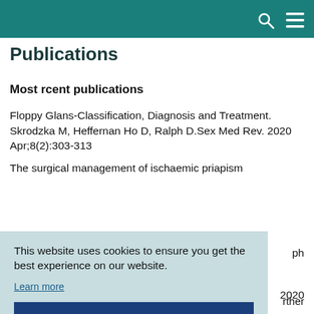Publications
Most rcent publications
Floppy Glans-Classification, Diagnosis and Treatment. Skrodzka M, Heffernan Ho D, Ralph D.Sex Med Rev. 2020 Apr;8(2):303-313
The surgical management of ischaemic priapism
This website uses cookies to ensure you get the best experience on our website.
Learn more
Got it!
ph
2020
Show accessibility tools
rther
investigatio...